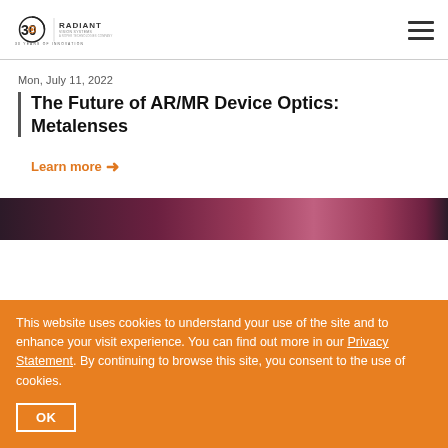Radiant Vision Systems — 30 Years of Innovation
Mon, July 11, 2022
The Future of AR/MR Device Optics: Metalenses
Learn more →
[Figure (photo): Dark gradient strip image, maroon/mauve tones, appearing to show an optical surface or lens-related imagery]
This website uses cookies to understand your use of the site and to enhance your visit experience. You can find out more in our Privacy Statement. By continuing to browse this site, you consent to the use of cookies.
OK